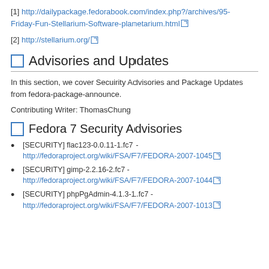[1] http://dailypackage.fedorabook.com/index.php?/archives/95-Friday-Fun-Stellarium-Software-planetarium.html
[2] http://stellarium.org/
Advisories and Updates
In this section, we cover Secuirity Advisories and Package Updates from fedora-package-announce.
Contributing Writer: ThomasChung
Fedora 7 Security Advisories
[SECURITY] flac123-0.0.11-1.fc7 - http://fedoraproject.org/wiki/FSA/F7/FEDORA-2007-1045
[SECURITY] gimp-2.2.16-2.fc7 - http://fedoraproject.org/wiki/FSA/F7/FEDORA-2007-1044
[SECURITY] phpPgAdmin-4.1.3-1.fc7 - http://fedoraproject.org/wiki/FSA/F7/FEDORA-2007-1013